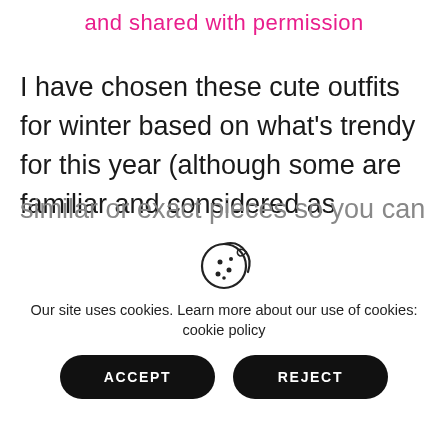and shared with permission
I have chosen these cute outfits for winter based on what's trendy for this year (although some are familiar and considered as classics). But since this should be the ULTIMATE party look guide, I've thrown in accessories, shoes, bags – the works. I'll also tell you where you can find similar or exact pieces so you can already start
[Figure (illustration): Cookie icon - a circular cookie with bite taken out and chocolate chip dots]
Our site uses cookies. Learn more about our use of cookies: cookie policy
ACCEPT
REJECT